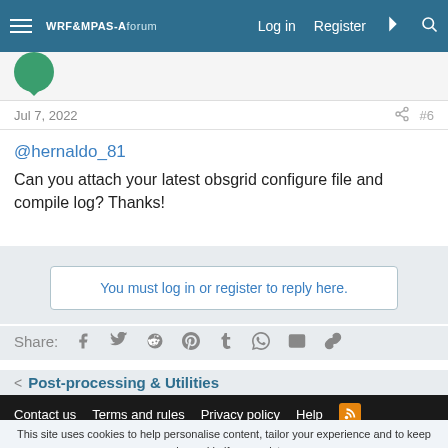WRF&MPAS-A forum  Log in  Register
Jul 7, 2022  #6
@hernaldo_81
Can you attach your latest obsgrid configure file and compile log? Thanks!
You must log in or register to reply here.
Share:
< Post-processing & Utilities
Contact us  Terms and rules  Privacy policy  Help
This site uses cookies to help personalise content, tailor your experience and to keep you logged in if you register.
By continuing to use this site, you are consenting to our use of cookies.
Accept  Learn more...